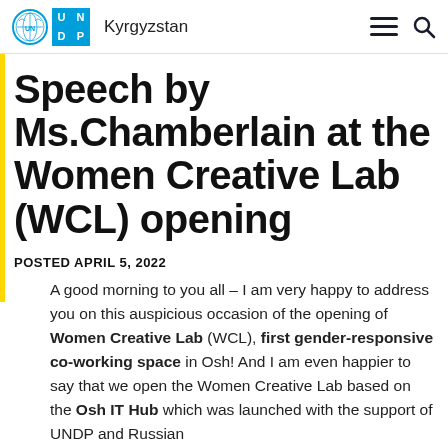Kyrgyzstan
Speech by Ms.Chamberlain at the Women Creative Lab (WCL) opening
POSTED APRIL 5, 2022
A good morning to you all – I am very happy to address you on this auspicious occasion of the opening of Women Creative Lab (WCL), first gender-responsive co-working space in Osh! And I am even happier to say that we open the Women Creative Lab based on the Osh IT Hub which was launched with the support of UNDP and Russian